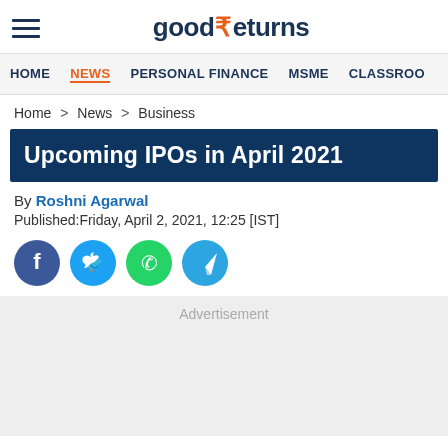good₹eturns
HOME  NEWS  PERSONAL FINANCE  MSME  CLASSROOM
Home > News > Business
Upcoming IPOs in April 2021
By Roshni Agarwal
Published:Friday, April 2, 2021, 12:25 [IST]
[Figure (infographic): Social sharing icons: Facebook (blue circle), Twitter (blue circle), WhatsApp (green circle), Telegram (blue circle)]
Advertisement